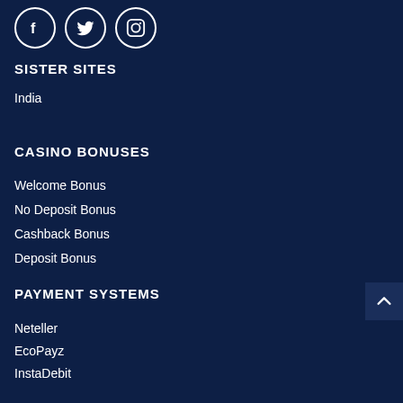[Figure (illustration): Three social media icons in white circles: Facebook (f), Twitter (bird), Instagram (camera)]
SISTER SITES
India
CASINO BONUSES
Welcome Bonus
No Deposit Bonus
Cashback Bonus
Deposit Bonus
PAYMENT SYSTEMS
Neteller
EcoPayz
InstaDebit
Cryptocurrency
Skrill